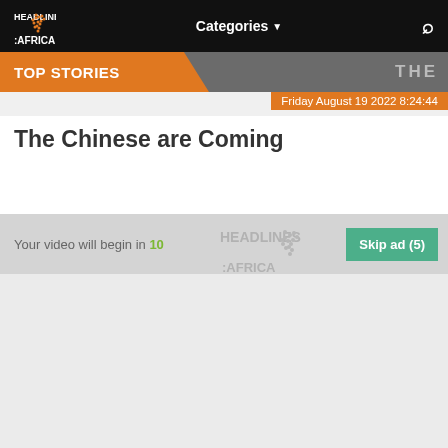HEADLINES AFRICA | Categories | Search
TOP STORIES | THE
Friday August 19 2022 8:24:44
The Chinese are Coming
Your video will begin in 10
Skip ad (5)
[Figure (logo): Headlines Africa watermark logo in grey]